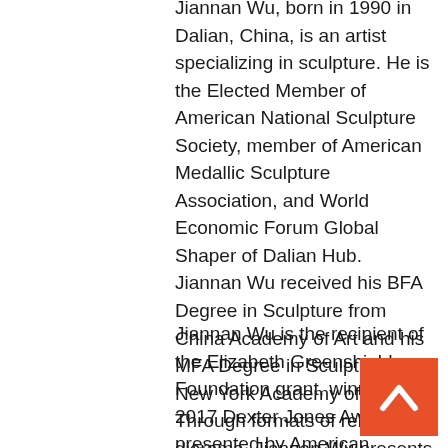Jiannan Wu, born in 1990 in Dalian, China, is an artist specializing in sculpture. He is the Elected Member of American National Sculpture Society, member of American Medallic Sculpture Association, and World Economic Forum Global Shaper of Dalian Hub. Jiannan Wu received his BFA Degree in Sculpture from China Academy of Art and his MFA Degree in Sculpture from New York Academy of Art. Through formats of relief and diorama, Jiannan Wu presents the theme of contemporary urban life in a realism and narrative way.
Jiannan Wu is the recipient of the Elizabeth Greenshields Foundation grant, winner of 2017 Dexter Jones Award presented by American National Sculpture Society and other awards. He is selected as 2020 AACYE Top 30 Under 30 presented by Al
[Figure (other): Back-to-top navigation button: orange/red square with a white upward-pointing chevron arrow]